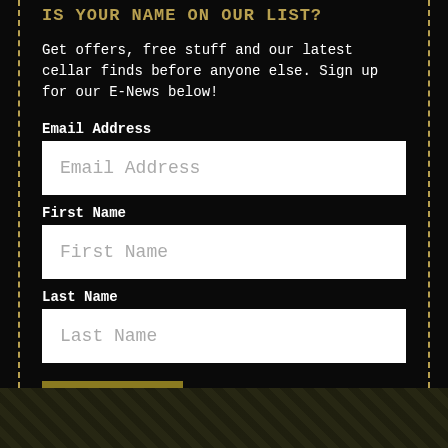IS YOUR NAME ON OUR LIST?
Get offers, free stuff and our latest cellar finds before anyone else. Sign up for our E-News below!
Email Address
First Name
Last Name
SIGN UP